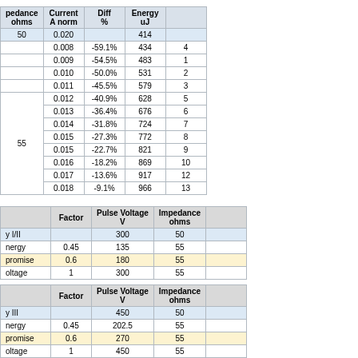| pedance ohms | Current A norm | Diff % | Energy uJ |  |
| --- | --- | --- | --- | --- |
| 50 | 0.020 |  | 414 |  |
|  | 0.008 | -59.1% | 434 | 4 |
|  | 0.009 | -54.5% | 483 | 1 |
|  | 0.010 | -50.0% | 531 | 2 |
|  | 0.011 | -45.5% | 579 | 3 |
| 55 | 0.012 | -40.9% | 628 | 5 |
|  | 0.013 | -36.4% | 676 | 6 |
|  | 0.014 | -31.8% | 724 | 7 |
|  | 0.015 | -27.3% | 772 | 8 |
|  | 0.015 | -22.7% | 821 | 9 |
|  | 0.016 | -18.2% | 869 | 10 |
|  | 0.017 | -13.6% | 917 | 12 |
|  | 0.018 | -9.1% | 966 | 13 |
|  | Factor | Pulse Voltage V | Impedance ohms |  |
| --- | --- | --- | --- | --- |
| y I/II |  | 300 | 50 |  |
| nergy | 0.45 | 135 | 55 |  |
| promise | 0.6 | 180 | 55 |  |
| oltage | 1 | 300 | 55 |  |
|  | Factor | Pulse Voltage V | Impedance ohms |  |
| --- | --- | --- | --- | --- |
| y III |  | 450 | 50 |  |
| nergy | 0.45 | 202.5 | 55 |  |
| promise | 0.6 | 270 | 55 |  |
| oltage | 1 | 450 | 55 |  |
|  | Factor | Pulse Voltage V | Impedance ohms |  |
| --- | --- | --- | --- | --- |
| y IV |  | 600 | 50 |  |
| nergy | 0.45 | 270 | 55 |  |
| promise | 0.6 | 360 | 55 |  |
| oltage | 1 | 600 | 55 |  |